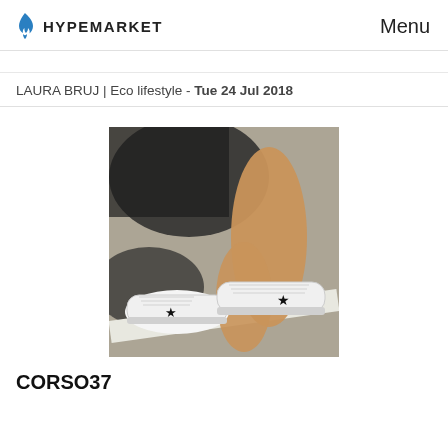HYPEMARKET   Menu
LAURA BRUJ | Eco lifestyle - Tue 24 Jul 2018
[Figure (photo): Person sitting on pavement wearing white sneakers with black star detail, shot from below showing bare legs and dark shorts]
CORSO37